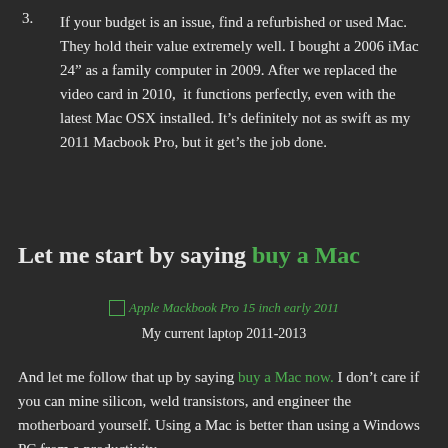3. If your budget is an issue, find a refurbished or used Mac. They hold their value extremely well. I bought a 2006 iMac 24" as a family computer in 2009. After we replaced the video card in 2010, it functions perfectly, even with the latest Mac OSX installed. It's definitely not as swift as my 2011 Macbook Pro, but it get's the job done.
Let me start by saying buy a Mac
[Figure (photo): Apple Mackbook Pro 15 inch early 2011 - broken image placeholder shown in green text]
My current laptop 2011-2013
And let me follow that up by saying buy a Mac now. I don't care if you can mine silicon, weld transistors, and engineer the motherboard yourself. Using a Mac is better than using a Windows PC from a productivity standpoint.